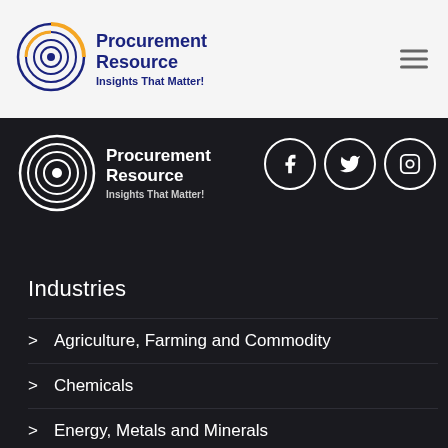Procurement Resource — Insights That Matter!
[Figure (logo): Procurement Resource logo with concentric circles icon and text 'Procurement Resource, Insights That Matter!' on dark background]
[Figure (infographic): Social media icons: Facebook, Twitter, Instagram in white circles on dark background]
Industries
Agriculture, Farming and Commodity
Chemicals
Energy, Metals and Minerals
Food and Beverages